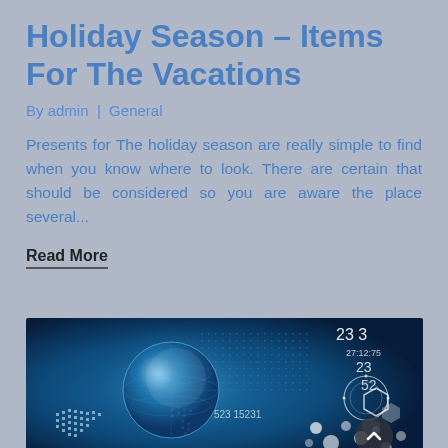Holiday Season – Items For The Vacations
By admin  |  General
Presents for The holiday season are really simple to find when you know where to look. There are certain that should be considered so you are aware the place several...
Read More
[Figure (photo): Technology themed digital illustration showing a globe, hexagon shapes, data grids, and futuristic UI elements on a blue background with numerical overlays including '23 3', '27:12:75', '23', '52', and '523 15231']